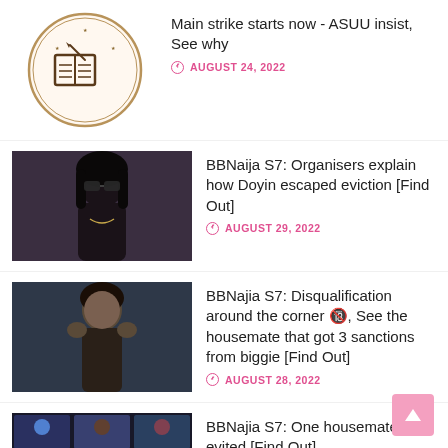Main strike starts now - ASUU insist, See why
BBNaija S7: Organisers explain how Doyin escaped eviction [Find Out]
BBNajia S7: Disqualification around the corner 🔞, See the housemate that got 3 sanctions from biggie [Find Out]
BBNajia S7: One housemate evited [Find Out]
Transfer: Erik ten Hag gives Cristiano Ronaldo fresh condition [Find Out]